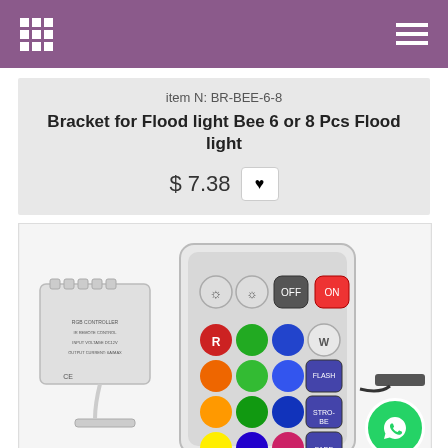item N: BR-BEE-6-8
Bracket for Flood light Bee 6 or 8 Pcs Flood light
$ 7.38
[Figure (photo): Photo of an RGB LED controller box and a 24-button infrared remote control with colorful buttons (red, green, blue, orange, yellow, white, etc.) and mode buttons (OFF, ON, FLASH, STROBE, FADE, SMOOTH), along with a connector cable on a white background.]